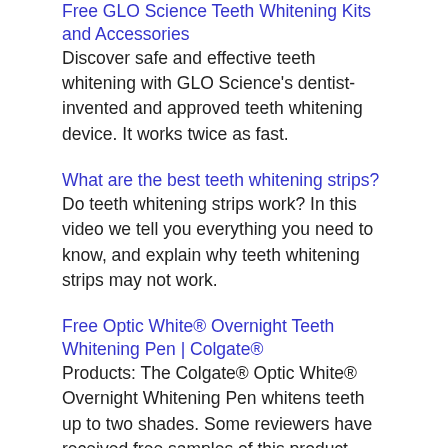Free GLO Science Teeth Whitening Kits and Accessories
Discover safe and effective teeth whitening with GLO Science's dentist-invented and approved teeth whitening device. It works twice as fast.
What are the best teeth whitening strips?
Do teeth whitening strips work? In this video we tell you everything you need to know, and explain why teeth whitening strips may not work.
Free Optic White® Overnight Teeth Whitening Pen | Colgate®
Products: The Colgate® Optic White® Overnight Whitening Pen whitens teeth up to two shades. Some reviewers have received free samples of this product.
Claim your Free Trial – HeyShinySmile
CLAIM YOUR FREE TRIAL Teeth Whitening Powder Pitch black powder to whiten your teeth?! Sounds crazy, but it